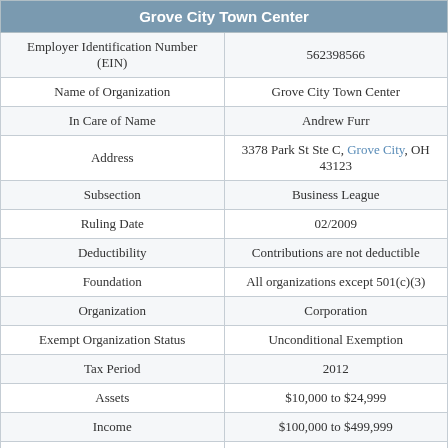| Grove City Town Center |  |
| --- | --- |
| Employer Identification Number (EIN) | 562398566 |
| Name of Organization | Grove City Town Center |
| In Care of Name | Andrew Furr |
| Address | 3378 Park St Ste C, Grove City, OH 43123 |
| Subsection | Business League |
| Ruling Date | 02/2009 |
| Deductibility | Contributions are not deductible |
| Foundation | All organizations except 501(c)(3) |
| Organization | Corporation |
| Exempt Organization Status | Unconditional Exemption |
| Tax Period | 2012 |
| Assets | $10,000 to $24,999 |
| Income | $100,000 to $499,999 |
| Filing Requirement | 990 (all other) or 990EZ return |
| Asset Amount | $14,417 |
| Amount of Income | $101,750 |
| Form 990 Revenue Amount | $68,953 |
| National Taxonomy of Exempt... | Economic Development, Economic Building... |